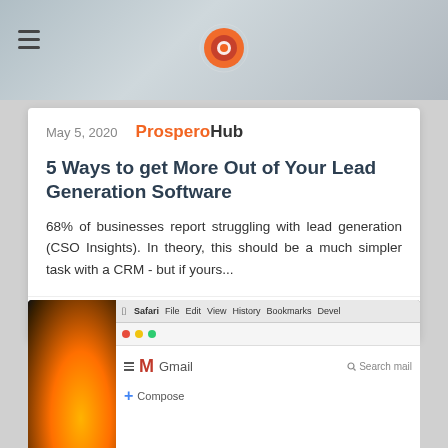[Figure (screenshot): Website header with hamburger menu icon on left and ProsperoHub logo (orange/red circular icon) centered on a blurred gray background]
May 5, 2020   ProsperoHub
5 Ways to get More Out of Your Lead Generation Software
68% of businesses report struggling with lead generation (CSO Insights). In theory, this should be a much simpler task with a CRM - but if yours...
Tags: Sales Enablement, CRM
[Figure (screenshot): Screenshot of a Gmail inbox open in Safari browser on a Mac, with fire/bokeh background on the left side]